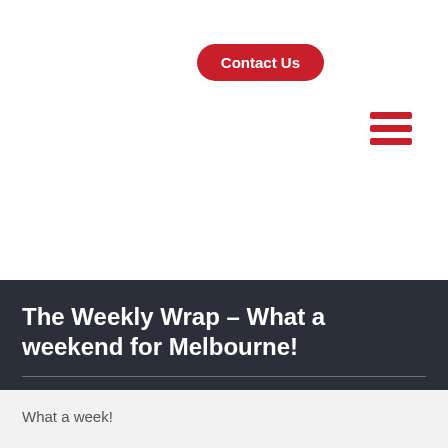[Figure (other): Contact Us button (red pill-shaped button with white bold text)]
[Figure (other): Hamburger menu icon with three red horizontal bars]
The Weekly Wrap – What a weekend for Melbourne!
03.10.16 | Marc Barlow | News
What a week!